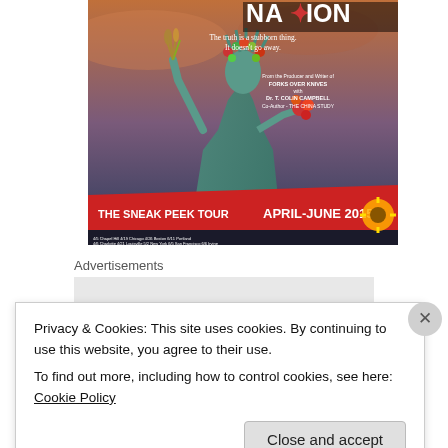[Figure (illustration): Movie poster for 'Food Choices Nation' featuring the Statue of Liberty decorated with flowers and vegetables. Text reads: 'The truth is a stubborn thing. It doesn't go away.' From the Producer and Writer of FORKS OVER KNIVES with Dr. T. Colin Campbell, Co-Author - THE CHINA STUDY. The Sneak Peek Tour April-June 2015 with tour dates including Chapel Hill, Charlotte, Chicago, Louisville, Cincinnati, Boston, New York, Long Island, Portland, San Francisco, Irvine, San Diego.]
Advertisements
Privacy & Cookies: This site uses cookies. By continuing to use this website, you agree to their use.
To find out more, including how to control cookies, see here: Cookie Policy